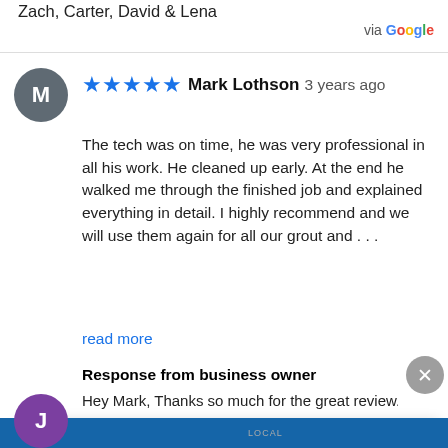Zach, Carter, David & Lena
via Google
Mark Lothson 3 years ago
The tech was on time, he was very professional in all his work. He cleaned up early. At the end he walked me through the finished job and explained everything in detail. I highly recommend and we will use them again for all our grout and ...
read more
Response from business owner
Hey Mark, Thanks so much for the great review.
Welcome, how can we help you?
Write your message...